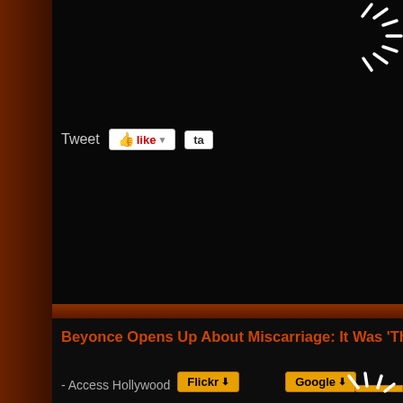[Figure (screenshot): Website screenshot showing a dark-themed news aggregator page with social sharing buttons (Tweet, Like, tab), an article title about Beyonce, source attribution from Access Hollywood, and body text snippets. Bottom has Flickr and Google sharing buttons.]
Beyonce Opens Up About Miscarriage: It Was 'The Sad...
- Access Hollywood
Beyonce has kept her personal life notoriously private, but in the superstar opens up about her painful...
Beyonce opens up about tragic miscarriage ...
Beyonce says her miscarriage is the "saddest thing" she'd ever mother to 12-month-old daughter Blue Ivy, but ...